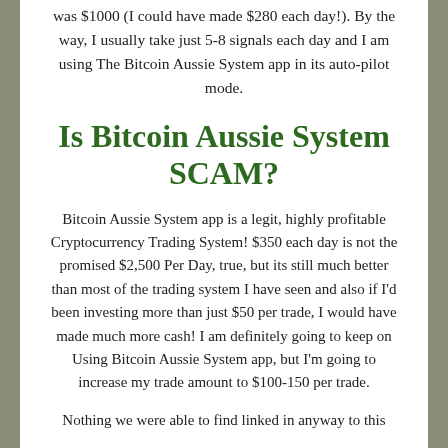was $1000 (I could have made $280 each day!). By the way, I usually take just 5-8 signals each day and I am using The Bitcoin Aussie System app in its auto-pilot mode.
Is Bitcoin Aussie System SCAM?
Bitcoin Aussie System app is a legit, highly profitable Cryptocurrency Trading System! $350 each day is not the promised $2,500 Per Day, true, but its still much better than most of the trading system I have seen and also if I'd been investing more than just $50 per trade, I would have made much more cash! I am definitely going to keep on Using Bitcoin Aussie System app, but I'm going to increase my trade amount to $100-150 per trade.
Nothing we were able to find linked in anyway to this